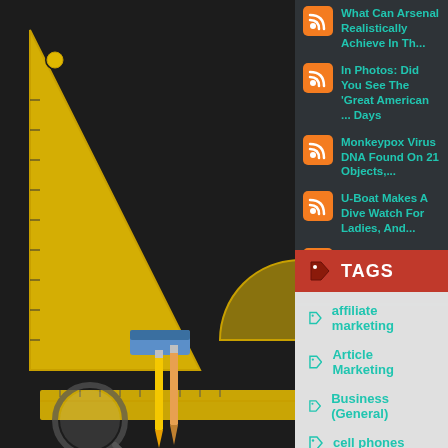[Figure (photo): Background photo of school supplies: yellow rulers, pencils, eraser, magnifying glass on dark surface]
What Can Arsenal Realistically Achieve In Th...
In Photos: Did You See The 'Great American ... Days
Monkeypox Virus DNA Found On 21 Objects,...
U-Boat Makes A Dive Watch For Ladies, And...
Backups Take Center Stage As San Francisc...
TAGS
affiliate marketing
Article Marketing
Business (General)
cell phones
credit cards
credit repair
employment